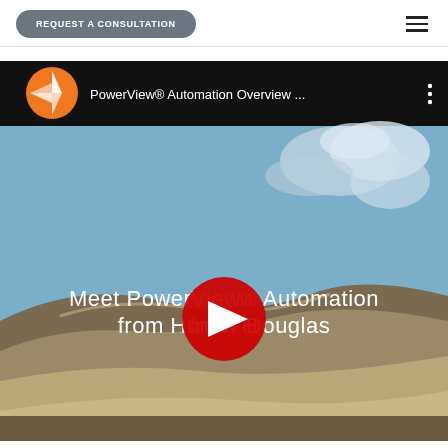REQUEST A CONSULTATION
[Figure (screenshot): YouTube video thumbnail for 'PowerView® Automation Overview ...' featuring a desert landscape with sky and clouds. White text reads 'Meet PowerView Automation from Hunter Douglas'. A red YouTube play button is centered on the image. The video bar at top shows an orange Hunter Douglas logo and the video title.]